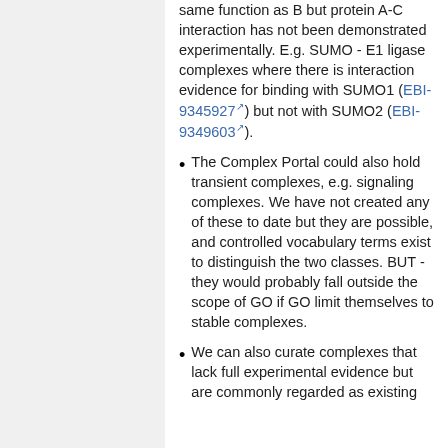same function as B but protein A-C interaction has not been demonstrated experimentally. E.g. SUMO - E1 ligase complexes where there is interaction evidence for binding with SUMO1 (EBI-9345927) but not with SUMO2 (EBI-9349603).
The Complex Portal could also hold transient complexes, e.g. signaling complexes. We have not created any of these to date but they are possible, and controlled vocabulary terms exist to distinguish the two classes. BUT - they would probably fall outside the scope of GO if GO limit themselves to stable complexes.
We can also curate complexes that lack full experimental evidence but are commonly regarded as existing...